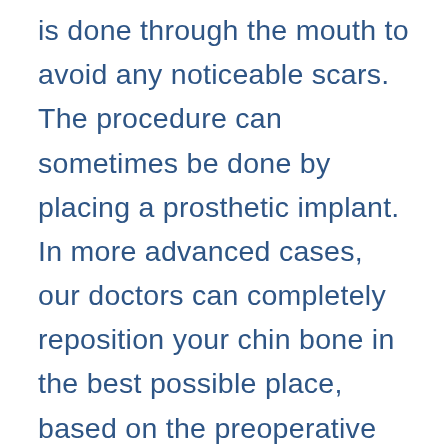is done through the mouth to avoid any noticeable scars. The procedure can sometimes be done by placing a prosthetic implant. In more advanced cases, our doctors can completely reposition your chin bone in the best possible place, based on the preoperative examination and workup. This is a more technically demanding procedure but often leaves the patient with a more natural appearance (as opposed to the look of the “done” chin) and avoids the need for prosthetic implants. It is not unusual to combine genioplasty with rhinoplasty or jaw